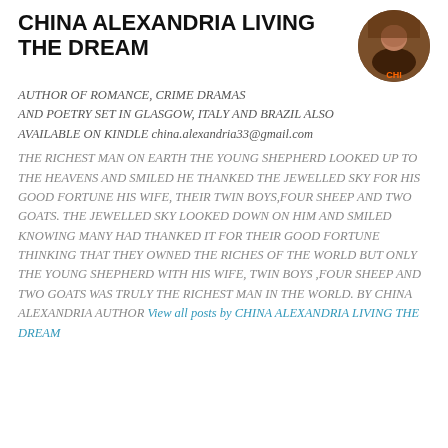CHINA ALEXANDRIA LIVING THE DREAM
AUTHOR OF ROMANCE, CRIME DRAMAS AND POETRY SET IN GLASGOW, ITALY AND BRAZIL ALSO AVAILABLE ON KINDLE china.alexandria33@gmail.com
THE RICHEST MAN ON EARTH THE YOUNG SHEPHERD LOOKED UP TO THE HEAVENS AND SMILED HE THANKED THE JEWELLED SKY FOR HIS GOOD FORTUNE HIS WIFE, THEIR TWIN BOYS,FOUR SHEEP AND TWO GOATS. THE JEWELLED SKY LOOKED DOWN ON HIM AND SMILED KNOWING MANY HAD THANKED IT FOR THEIR GOOD FORTUNE THINKING THAT THEY OWNED THE RICHES OF THE WORLD BUT ONLY THE YOUNG SHEPHERD WITH HIS WIFE, TWIN BOYS ,FOUR SHEEP AND TWO GOATS WAS TRULY THE RICHEST MAN IN THE WORLD. BY CHINA ALEXANDRIA AUTHOR View all posts by CHINA ALEXANDRIA LIVING THE DREAM